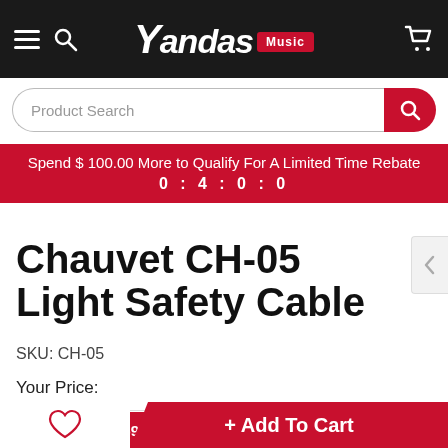Yandas Music
Product Search
Spend $100.00 More to Qualify For A Limited Time Rebate
0 : 4 : 0 : 0
Chauvet CH-05 Light Safety Cable
SKU: CH-05
Your Price:
159 Visitor Right Now
+ Add To Cart